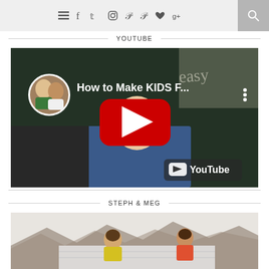Navigation bar with menu, social icons, and search
YOUTUBE
[Figure (screenshot): YouTube video thumbnail showing 'How to Make KIDS F...' with two women in a circular avatar, red YouTube play button overlay, and YouTube logo watermark]
STEPH & MEG
[Figure (photo): Photo of two women outdoors with mountains in background, standing near a car]